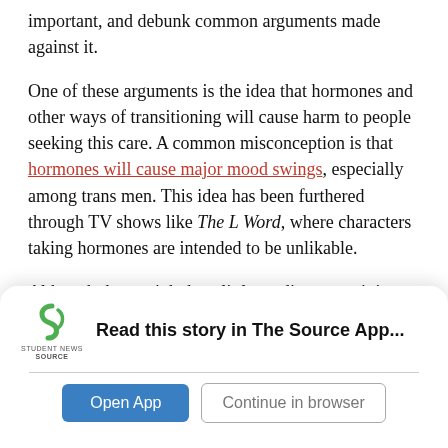important, and debunk common arguments made against it.
One of these arguments is the idea that hormones and other ways of transitioning will cause harm to people seeking this care. A common misconception is that hormones will cause major mood swings, especially among trans men. This idea has been furthered through TV shows like The L Word, where characters taking hormones are intended to be unlikable.
Although there might be a little readjustment, it is rare that hormones will affect one to the extent
Read this story in The Source App...
Open App
Continue in browser